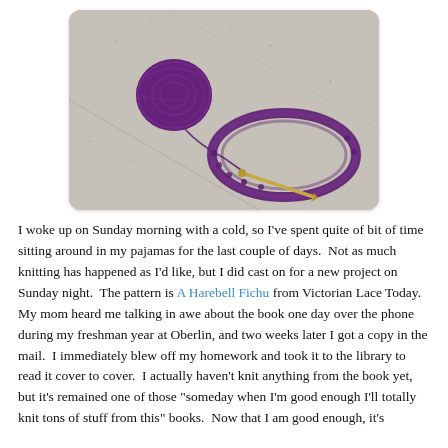[Figure (photo): A ball of dark purple yarn and a partially knitted circular piece with a knitting needle, resting on a light grey stone or concrete surface.]
I woke up on Sunday morning with a cold, so I've spent quite of bit of time sitting around in my pajamas for the last couple of days.  Not as much knitting has happened as I'd like, but I did cast on for a new project on Sunday night.  The pattern is A Harebell Fichu from Victorian Lace Today.  My mom heard me talking in awe about the book one day over the phone during my freshman year at Oberlin, and two weeks later I got a copy in the mail.  I immediately blew off my homework and took it to the library to read it cover to cover.  I actually haven't knit anything from the book yet, but it's remained one of those "someday when I'm good enough I'll totally knit tons of stuff from this" books.  Now that I am good enough, it's